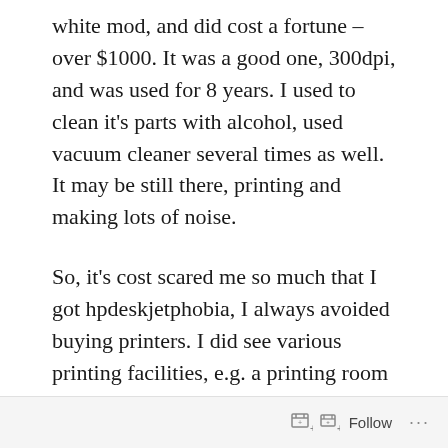white mod, and did cost a fortune – over $1000. It was a good one, 300dpi, and was used for 8 years. I used to clean it's parts with alcohol, used vacuum cleaner several times as well. It may be still there, printing and making lots of noise.
So, it's cost scared me so much that I got hpdeskjetphobia, I always avoided buying printers. I did see various printing facilities, e.g. a printing room in a bank, where transaction logs were printed on paper by large Kyoceras. Those noisy bastards were all around but not near me. In my previous job printers were
Follow ...